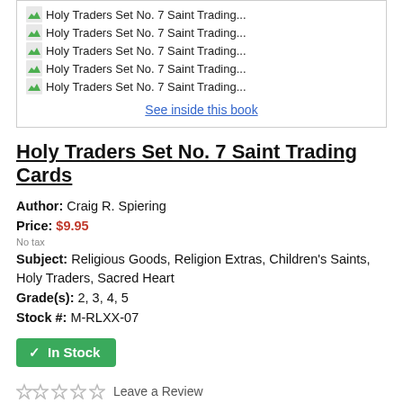Holy Traders Set No. 7 Saint Trading...
Holy Traders Set No. 7 Saint Trading...
Holy Traders Set No. 7 Saint Trading...
Holy Traders Set No. 7 Saint Trading...
Holy Traders Set No. 7 Saint Trading...
See inside this book
Holy Traders Set No. 7 Saint Trading Cards
Author:  Craig R. Spiering
Price:  $9.95
No tax
Subject:  Religious Goods, Religion Extras, Children's Saints, Holy Traders, Sacred Heart
Grade(s):  2, 3, 4, 5
Stock #:  M-RLXX-07
✓ In Stock
Leave a Review